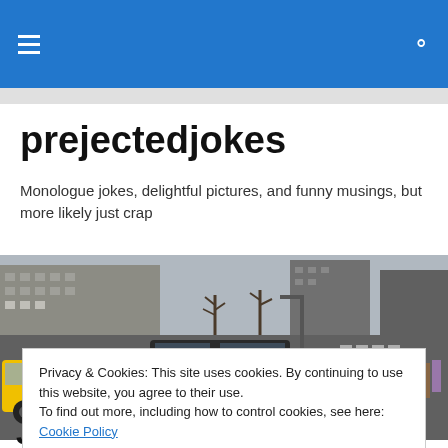prejectedjokes — navigation bar with hamburger menu and search icon
prejectedjokes
Monologue jokes, delightful pictures, and funny musings, but more likely just crap
[Figure (photo): Street scene photo of New York City with yellow taxis, pedestrians crossing, and buildings in the background]
Privacy & Cookies: This site uses cookies. By continuing to use this website, you agree to their use.
To find out more, including how to control cookies, see here: Cookie Policy
Close and accept
Jokes